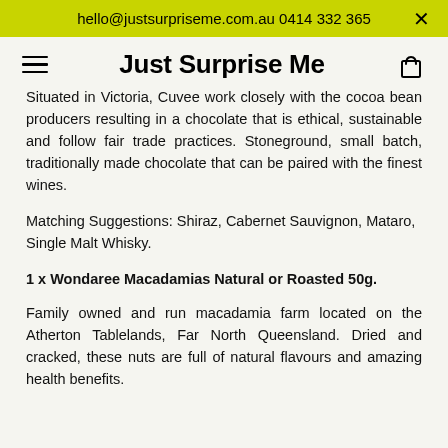hello@justsurpriseme.com.au 0414 332 365
Just Surprise Me
Situated in Victoria, Cuvee work closely with the cocoa bean producers resulting in a chocolate that is ethical, sustainable and follow fair trade practices. Stoneground, small batch, traditionally made chocolate that can be paired with the finest wines.
Matching Suggestions: Shiraz, Cabernet Sauvignon, Mataro, Single Malt Whisky.
1 x Wondaree Macadamias Natural or Roasted 50g.
Family owned and run macadamia farm located on the Atherton Tablelands, Far North Queensland. Dried and cracked, these nuts are full of natural flavours and amazing health benefits.